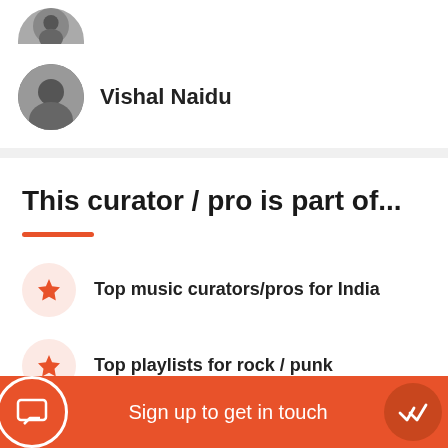[Figure (photo): Partially cropped circular avatar photo of a person at the top]
[Figure (photo): Circular black and white avatar photo of Vishal Naidu]
Vishal Naidu
This curator / pro is part of...
Top music curators/pros for India
Top playlists for rock / punk
Sign up to get in touch